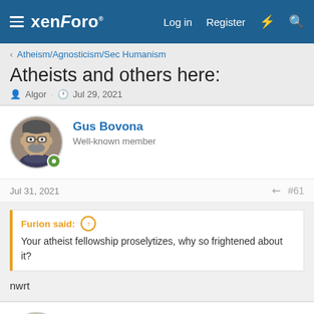xenForo — Log in  Register
< Atheism/Agnosticism/Sec Humanism
Atheists and others here:
Algor · Jul 29, 2021
Gus Bovona — Well-known member
Jul 31, 2021  #61
Furion said: ↑
Your atheist fellowship proselytizes, why so frightened about it?
nwrt
Electric Skeptic — Well-known member